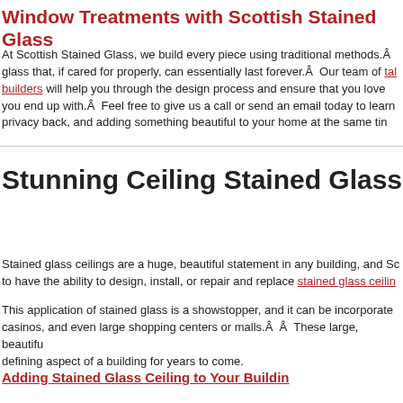Window Treatments with Scottish Stained Glass
At Scottish Stained Glass, we build every piece using traditional methods.Â glass that, if cared for properly, can essentially last forever.Â  Our team of talented stained glass builders will help you through the design process and ensure that you love you end up with.Â  Feel free to give us a call or send an email today to learn privacy back, and adding something beautiful to your home at the same time.
Stunning Ceiling Stained Glass
Stained glass ceilings are a huge, beautiful statement in any building, and Scottish Stained Glass is proud to have the ability to design, install, or repair and replace stained glass ceilings.
This application of stained glass is a showstopper, and it can be incorporated into hotels, churches, casinos, and even large shopping centers or malls.Â Â  These large, beautiful pieces can become a defining aspect of a building for years to come.
Adding Stained Glass Ceiling to Your Building